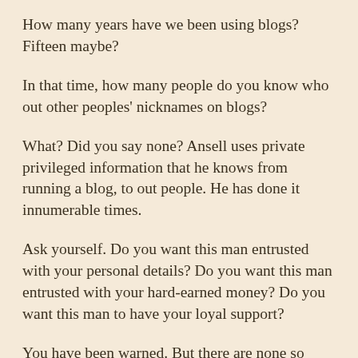How many years have we been using blogs? Fifteen maybe?
In that time, how many people do you know who out other peoples' nicknames on blogs?
What? Did you say none? Ansell uses private privileged information that he knows from running a blog, to out people. He has done it innumerable times.
Ask yourself. Do you want this man entrusted with your personal details? Do you want this man entrusted with your hard-earned money? Do you want this man to have your loyal support?
You have been warned. But there are none so blind. One day you will thank me.